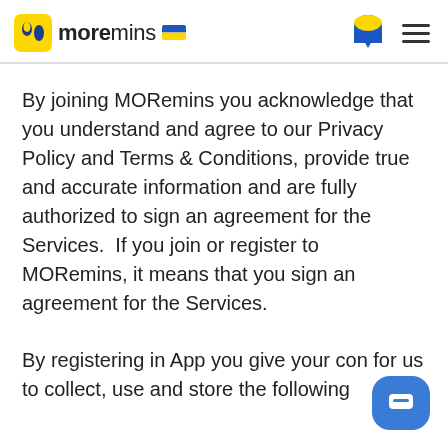moremins
By joining MORemins you acknowledge that you understand and agree to our Privacy Policy and Terms & Conditions, provide true and accurate information and are fully authorized to sign an agreement for the Services.  If you join or register to MORemins, it means that you sign an agreement for the Services.
By registering in App you give your con for us to collect, use and store the following